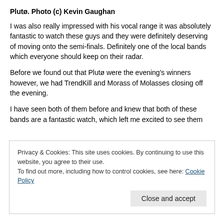Plutø. Photo (c) Kevin Gaughan
I was also really impressed with his vocal range it was absolutely fantastic to watch these guys and they were definitely deserving of moving onto the semi-finals. Definitely one of the local bands which everyone should keep on their radar.
Before we found out that Plutø were the evening's winners however, we had TrendKill and Morass of Molasses closing off the evening.
I have seen both of them before and knew that both of these bands are a fantastic watch, which left me excited to see them
Privacy & Cookies: This site uses cookies. By continuing to use this website, you agree to their use.
To find out more, including how to control cookies, see here: Cookie Policy